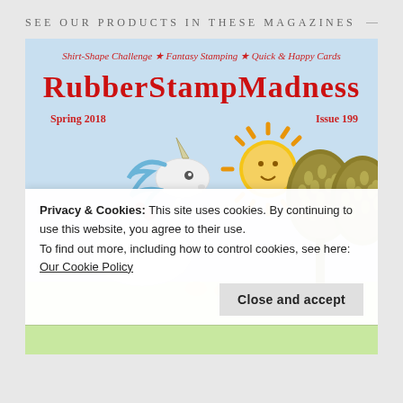SEE OUR PRODUCTS IN THESE MAGAZINES
[Figure (photo): Magazine cover of RubberStampMadness Spring 2018 Issue 199, showing a unicorn, a decorative sun face, and stylized trees on a light blue background. Subtitle text: Shirt-Shape Challenge * Fantasy Stamping * Quick & Happy Cards]
Privacy & Cookies: This site uses cookies. By continuing to use this website, you agree to their use.
To find out more, including how to control cookies, see here: Our Cookie Policy
Close and accept